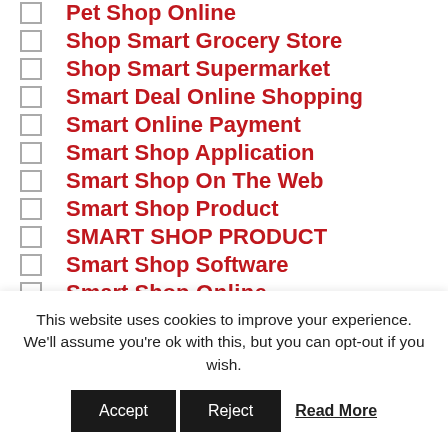Pet Shop Online
Shop Smart Grocery Store
Shop Smart Supermarket
Smart Deal Online Shopping
Smart Online Payment
Smart Shop Application
Smart Shop On The Web
Smart Shop Product
SMART SHOP PRODUCT
Smart Shop Software
Smart Shop Online (partial)
This website uses cookies to improve your experience. We'll assume you're ok with this, but you can opt-out if you wish.
Accept | Reject | Read More